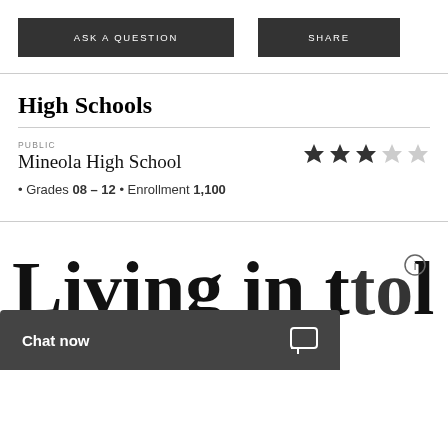[Figure (other): Two dark buttons: ASK A QUESTION and SHARE]
High Schools
PUBLIC
Mineola High School • Grades 08 - 12 • Enrollment 1,100
[Figure (other): 3-star rating out of 5 stars]
Living in the...
[Figure (other): Chat now button bar with chat icon]